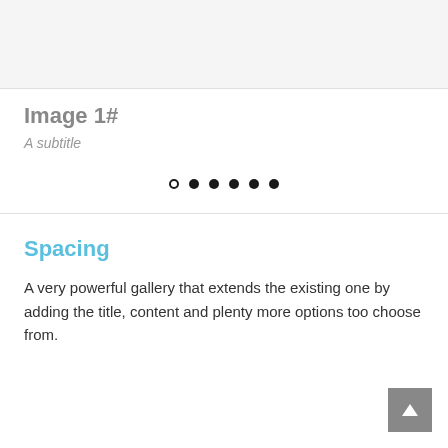[Figure (other): Light gray image placeholder rectangle]
Image 1#
A subtitle
[Figure (other): Carousel indicator dots: one open circle followed by five filled circles]
Spacing
A very powerful gallery that extends the existing one by adding the title, content and plenty more options too choose from.